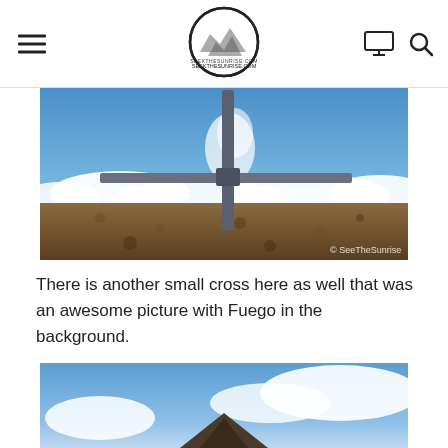SeeTheSunrise.com navigation header with logo, hamburger menu, monitor icon, and search icon
[Figure (photo): A large metal cross on a volcanic summit above the clouds, with Fuego volcano erupting smoke in the background. Rocky brown terrain in foreground, blue sky with clouds below. Watermark: © SeeTheSunrise]
There is another small cross here as well that was an awesome picture with Fuego in the background.
[Figure (photo): Partial view of a second photo showing blue sky, clouds, and what appears to be a small cross or summit marker against the sky — image cut off at bottom of page.]